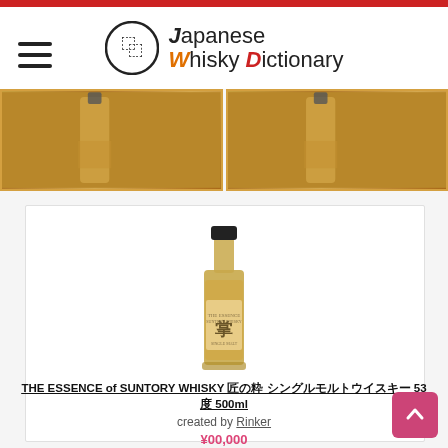Japanese Whisky Dictionary
[Figure (photo): Two cropped photos of whisky bottles/barrels in warm amber tones, shown side by side as a strip]
[Figure (photo): Product photo of THE ESSENCE of SUNTORY WHISKY bottle — tall glass bottle with black cap and Japanese calligraphy label in gold]
THE ESSENCE of SUNTORY WHISKY 匠の粋 シングルモルトウイスキー 53度 500ml
created by Rinker
¥00,000